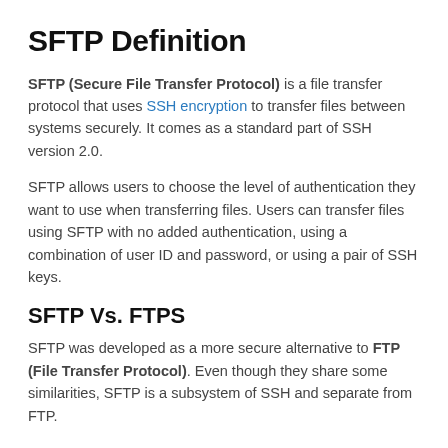SFTP Definition
SFTP (Secure File Transfer Protocol) is a file transfer protocol that uses SSH encryption to transfer files between systems securely. It comes as a standard part of SSH version 2.0.
SFTP allows users to choose the level of authentication they want to use when transferring files. Users can transfer files using SFTP with no added authentication, using a combination of user ID and password, or using a pair of SSH keys.
SFTP Vs. FTPS
SFTP was developed as a more secure alternative to FTP (File Transfer Protocol). Even though they share some similarities, SFTP is a subsystem of SSH and separate from FTP.